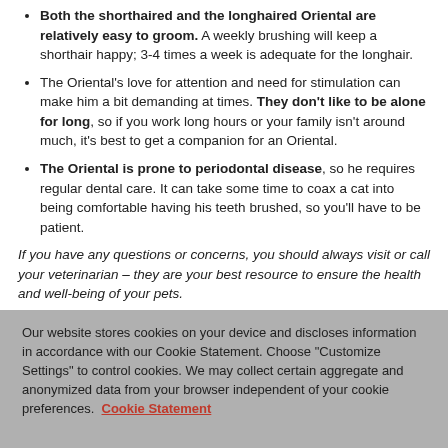Both the shorthaired and the longhaired Oriental are relatively easy to groom. A weekly brushing will keep a shorthair happy; 3-4 times a week is adequate for the longhair.
The Oriental's love for attention and need for stimulation can make him a bit demanding at times. They don't like to be alone for long, so if you work long hours or your family isn't around much, it's best to get a companion for an Oriental.
The Oriental is prone to periodontal disease, so he requires regular dental care. It can take some time to coax a cat into being comfortable having his teeth brushed, so you'll have to be patient.
If you have any questions or concerns, you should always visit or call your veterinarian – they are your best resource to ensure the health and well-being of your pets.
Our website stores cookies on your device and discloses information in accordance with our Cookie Statement. Choose "Customize Settings" to control cookies. We may collect certain aggregate and anonymized data from your browser independent of your cookie preferences. Cookie Statement